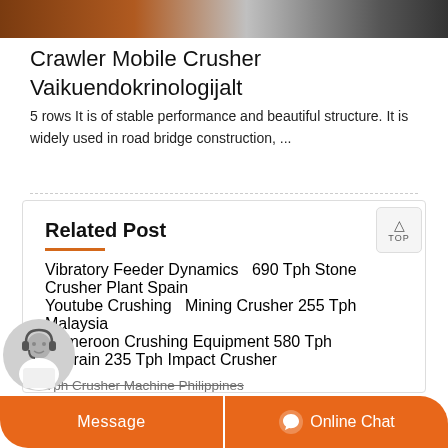[Figure (photo): Top partial image showing industrial equipment/machinery in browns and grays]
Crawler Mobile Crusher Vaikuendokrinologijalt
5 rows It is of stable performance and beautiful structure. It is widely used in road bridge construction, ...
Related Post
Vibratory Feeder Dynamics   690 Tph Stone Crusher Plant Spain
Youtube Crushing   Mining Crusher 255 Tph Malaysia
Cameroon Crushing Equipment 580 Tph
Bahrain 235 Tph Impact Crusher
Tph Crusher Machine Philippines
Limestone Crusher 630 Tph Guatemala